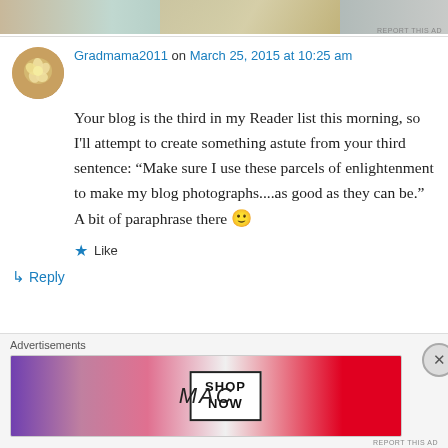[Figure (photo): Top advertisement banner strip with colorful product images]
Gradmama2011 on March 25, 2015 at 10:25 am
Your blog is the third in my Reader list this morning, so I'll attempt to create something astute from your third sentence: “Make sure I use these parcels of enlightenment to make my blog photographs....as good as they can be.” A bit of paraphrase there 🙂
Like
Reply
Advertisements
[Figure (photo): MAC Cosmetics advertisement banner showing lipsticks with SHOP NOW text]